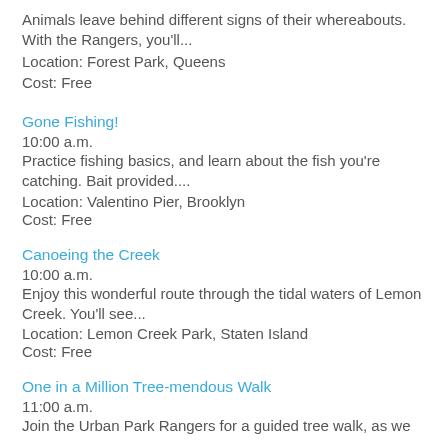Animals leave behind different signs of their whereabouts. With the Rangers, you'll...
Location: Forest Park, Queens
Cost: Free
Gone Fishing!
10:00 a.m.
Practice fishing basics, and learn about the fish you're catching. Bait provided....
Location: Valentino Pier, Brooklyn
Cost: Free
Canoeing the Creek
10:00 a.m.
Enjoy this wonderful route through the tidal waters of Lemon Creek. You'll see...
Location: Lemon Creek Park, Staten Island
Cost: Free
One in a Million Tree-mendous Walk
11:00 a.m.
Join the Urban Park Rangers for a guided tree walk, as we